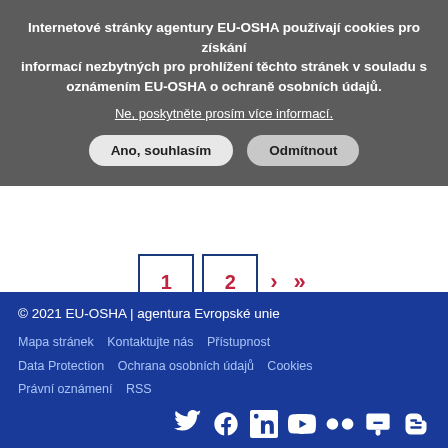Internetové stránky agentury EU-OSHA používají cookies pro získání informací nezbytných pro prohlížení těchto stránek v souladu s oznámením EU-OSHA o ochraně osobních údajů.
Ne, poskytněte prosím více informací.
Ano, souhlasím
Odmítnout
1  2  >  >>
© 2021 EU-OSHA | agentura Evropské unie
Mapa stránek   Kontaktujte nás   Přístupnost
Data Protection   Ochrana osobních údajů   Cookies
Právní oznámení   RSS